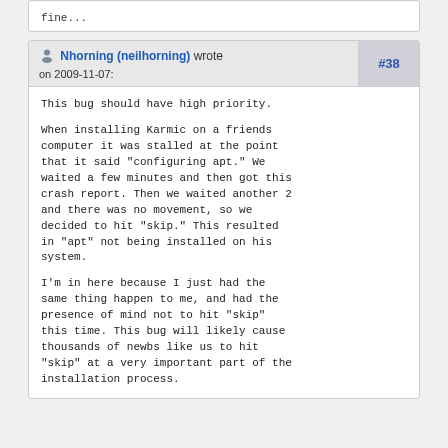fine...
Nhorning (neilhorning) wrote on 2009-11-07:
#38
This bug should have high priority.

When installing Karmic on a friends computer it was stalled at the point that it said "configuring apt." We waited a few minutes and then got this crash report. Then we waited another 2 and there was no movement, so we decided to hit "skip." This resulted in "apt" not being installed on his system.

I'm in here because I just had the same thing happen to me, and had the presence of mind not to hit "skip" this time. This bug will likely cause thousands of newbs like us to hit "skip" at a very important part of the installation process.